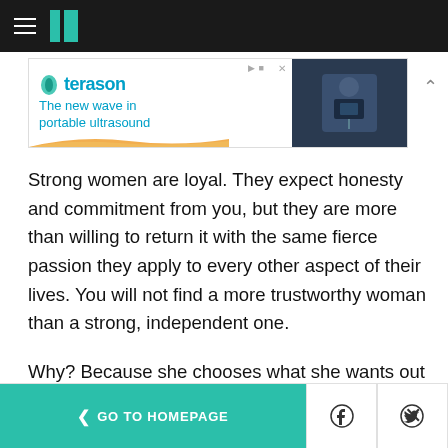HuffPost navigation header with hamburger menu and logo
[Figure (screenshot): Terason advertisement banner: 'The new wave in portable ultrasound' with teal logo, orange wave graphic, and image of person holding ultrasound device]
Strong women are loyal. They expect honesty and commitment from you, but they are more than willing to return it with the same fierce passion they apply to every other aspect of their lives. You will not find a more trustworthy woman than a strong, independent one.
Why? Because she chooses what she wants out of life and she holds on to it when she gets it.
< GO TO HOMEPAGE | Facebook icon | Twitter icon | X